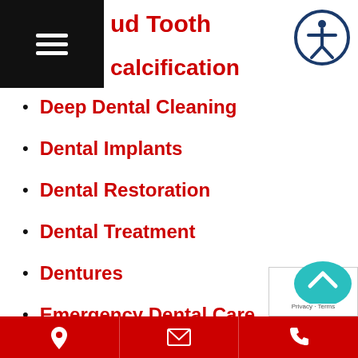ud Tooth
calcification
Deep Dental Cleaning
Dental Implants
Dental Restoration
Dental Treatment
Dentures
Emergency Dental Care
floss picks
Gum Pain
Gum Recession
Implant
Invisalign
Overbite Treatment
Location | Email | Phone